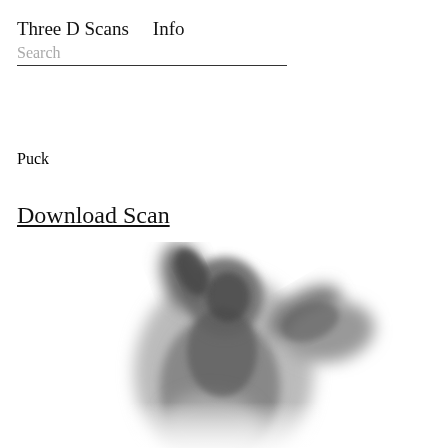Three D Scans    Info
Search
Puck
Download Scan
[Figure (photo): A blurred grayscale 3D scan rendering of the Puck sculpture, showing a crouching or kneeling figure with arms raised, rendered in soft gray tones against a white background.]